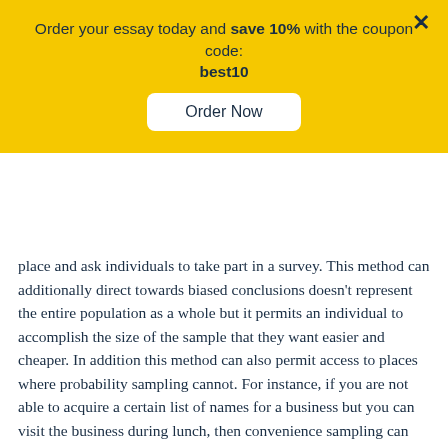Order your essay today and save 10% with the coupon code: best10
Order Now
place and ask individuals to take part in a survey. This method can additionally direct towards biased conclusions doesn't represent the entire population as a whole but it permits an individual to accomplish the size of the sample that they want easier and cheaper. In addition this method can also permit access to places where probability sampling cannot. For instance, if you are not able to acquire a certain list of names for a business but you can visit the business during lunch, then convenience sampling can permit you to achieve the data.
Expert sampling is a type of target sampling. This method targets a certain group of individuals. “Expert sampling is used when you are trying to get the opinions of people with a relatively high level of skill or knowledge” (Changing Minds, 2014). For instance, when you view commercials that state 1 in 5 doctors recommend a certain medication. This is a highly used selection method that is individuals are all among questions and